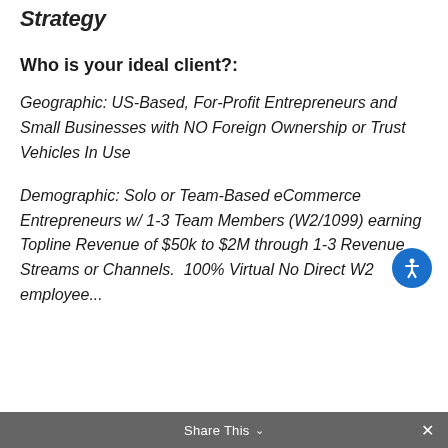Strategy
Who is your ideal client?:
Geographic: US-Based, For-Profit Entrepreneurs and Small Businesses with NO Foreign Ownership or Trust Vehicles In Use
Demographic: Solo or Team-Based eCommerce Entrepreneurs w/ 1-3 Team Members (W2/1099) earning Topline Revenue of $50k to $2M through 1-3 Revenue Streams or Channels.  100% Virtual No Direct W2 employee...